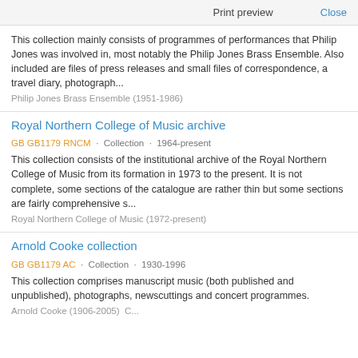Print preview   Close
This collection mainly consists of programmes of performances that Philip Jones was involved in, most notably the Philip Jones Brass Ensemble. Also included are files of press releases and small files of correspondence, a travel diary, photograph...
Philip Jones Brass Ensemble (1951-1986)
Royal Northern College of Music archive
GB GB1179 RNCM · Collection · 1964-present
This collection consists of the institutional archive of the Royal Northern College of Music from its formation in 1973 to the present. It is not complete, some sections of the catalogue are rather thin but some sections are fairly comprehensive s...
Royal Northern College of Music (1972-present)
Arnold Cooke collection
GB GB1179 AC · Collection · 1930-1996
This collection comprises manuscript music (both published and unpublished), photographs, newscuttings and concert programmes.